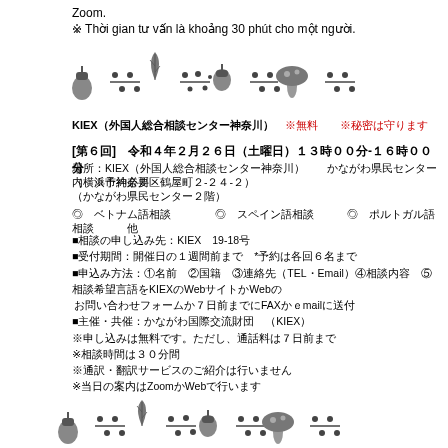Zoom.
※ Thời gian tư vấn là khoảng 30 phút cho một người.
[Figure (illustration): Decorative row of autumn nature icons: acorn, branch, leaf, branch, acorn, branch, mushroom, branch]
KIEX（外国人総合相談センター神奈川）  ※無料  ※秘密は守ります
[第６回]  令和４年２月２６日（土曜日）１３時００分-１６時００分
場所：KIEX（外国人総合相談センター神奈川）　　かながわ県民センター内　※予約必要
（横浜市神奈川区鶴屋町２-２４-２）
（かながわ県民センター２階）
◎ ベトナム語相談　　　◎ スペイン語相談　　　◎ ポルトガル語相談　　　他
■相談の申し込み先：KIEX　19-18号
■受付期間：開催日の１週間前まで　*予約は各回６名まで
■申込み方法：①名前　②国籍　③連絡先（TEL・Email）④相談内容　⑤相談希望言語をKIEXのWebサイトかWebの
お問い合わせフォームか７日前までにFAXかｅmailに送付
■主催・共催：かながわ国際交流財団　（KIEX）
※申し込みは無料です。ただし、通話料は７日前まで
※相談時間は３０分間
※通訳・翻訳サービスのご紹介は行いません
※当日の案内はZoomかWebで行います
[Figure (illustration): Decorative row of autumn nature icons: acorn, branch, leaf, branch, acorn, branch, mushroom, branch (partial, at bottom)]